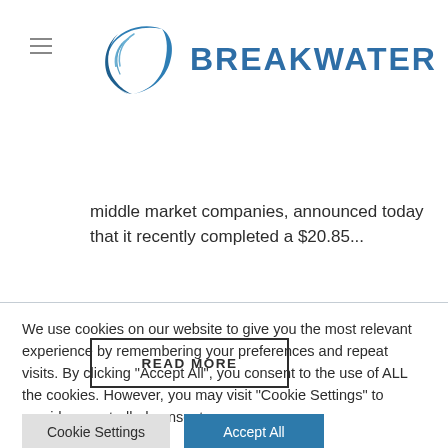[Figure (logo): Breakwater logo: a blue crescent wave shape alongside the text BREAKWATER in bold blue letters]
middle market companies, announced today that it recently completed a $20.85...
READ MORE
We use cookies on our website to give you the most relevant experience by remembering your preferences and repeat visits. By clicking “Accept All”, you consent to the use of ALL the cookies. However, you may visit "Cookie Settings" to provide a controlled consent.
Cookie Settings
Accept All